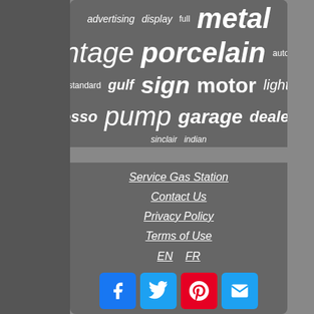[Figure (infographic): Tag cloud on dark gray background with words: advertising, display, full, metal, vintage, porcelain, automobile, standard, gulf, sign, motor, light, esso, pump, garage, dealer, sinclair, indian]
Service Gas Station
Contact Us
Privacy Policy
Terms of Use
EN  FR
[Figure (infographic): Social media icon buttons: Facebook (blue), Twitter (blue), Pinterest (red), Email (blue)]